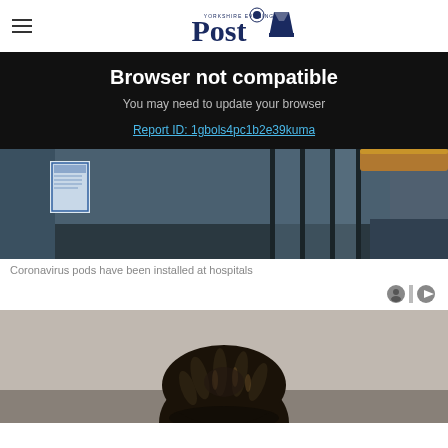Yorkshire Evening Post
Browser not compatible
You may need to update your browser
Report ID: 1gbols4pc1b2e39kuma
[Figure (photo): Coronavirus pods installed at a hospital entrance, showing glass partitions, a notice sign, and a wooden handrail]
Coronavirus pods have been installed at hospitals
[Figure (photo): Close-up top-of-head view of a person with dreadlocks]